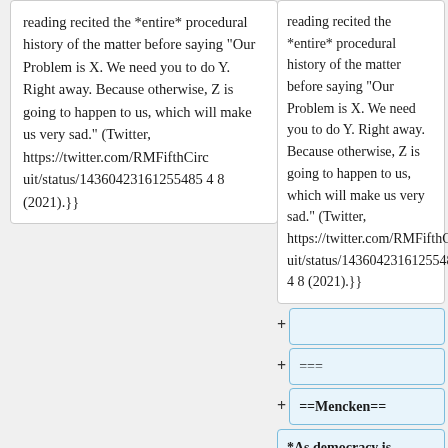reading recited the *entire* procedural history of the matter before saying "Our Problem is X. We need you to do Y. Right away. Because otherwise, Z is going to happen to us, which will make us very sad." (Twitter, https://twitter.com/RMFifthCircuit/status/143604231612554854 8 (2021).}}
reading recited the *entire* procedural history of the matter before saying "Our Problem is X. We need you to do Y. Right away. Because otherwise, Z is going to happen to us, which will make us very sad." (Twitter, https://twitter.com/RMFifthCircuit/status/143604231612554854 8 (2021).}}
===
==Mencken==
*As democracy is perfected, the office of President represents, more and more closely, the inner soul of the